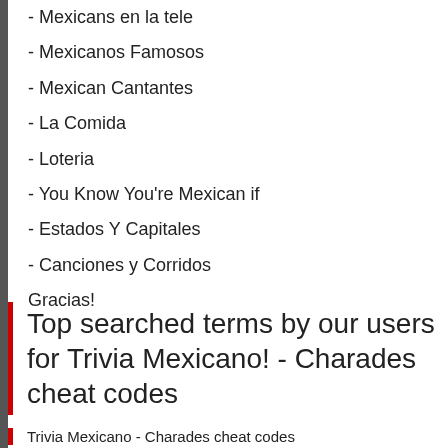- Mexicans en la tele
- Mexicanos Famosos
- Mexican Cantantes
- La Comida
- Loteria
- You Know You're Mexican if
- Estados Y Capitales
- Canciones y Corridos
Gracias!
Top searched terms by our users for Trivia Mexicano! - Charades cheat codes
Trivia Mexicano - Charades cheat codes